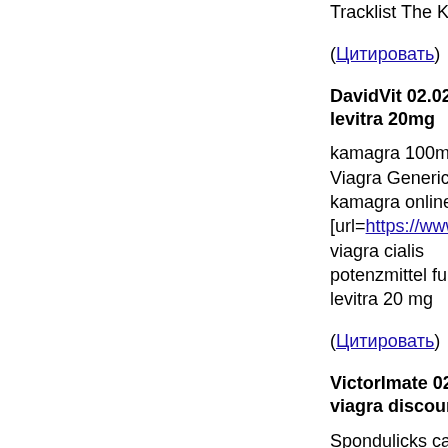Tracklist The King r
(Цитировать)
DavidVit 02.02.201... levitra 20mg
kamagra 100mg Viagra Generica ohn kamagra online apo [url=https://www.pi viagra cialis potenzmittel fur ma levitra 20 mg
(Цитировать)
VictorImate 02.02. viagra discount cou
Spondulicks cannot http://ciatrust.review